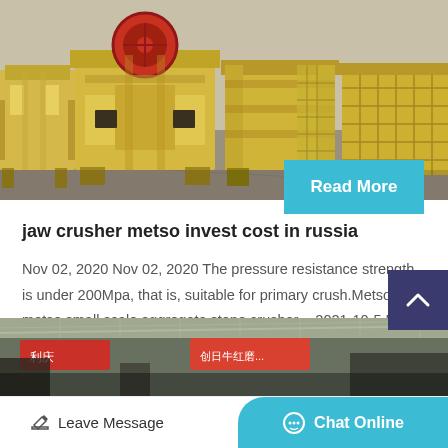[Figure (photo): Row of yellow jaw crusher machines in a factory/warehouse setting, viewed from the side]
Read More
jaw crusher metso invest cost in russia
Nov 02, 2020 Nov 02, 2020 The pressure resistance strength is under 200Mpa, that is, suitable for primary crush.Metso metso small scale aggregate stone crusher - ,2021-10-5 Metso Metso...
[Figure (photo): Bottom strip photo of industrial facility with Chinese signage]
Leave Message
Chat Online